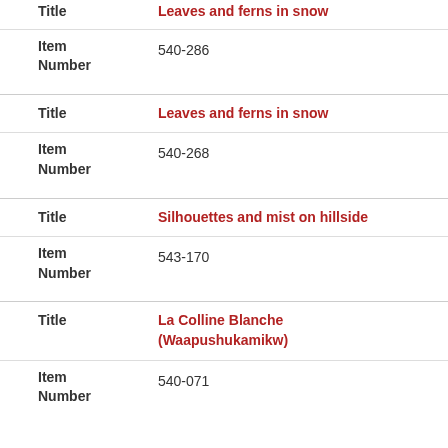| Field | Value |
| --- | --- |
| Title | Leaves and ferns in snow |
| Item Number | 540-286 |
| Title | Leaves and ferns in snow |
| Item Number | 540-268 |
| Title | Silhouettes and mist on hillside |
| Item Number | 543-170 |
| Title | La Colline Blanche (Waapushukamikw) |
| Item Number | 540-071 |